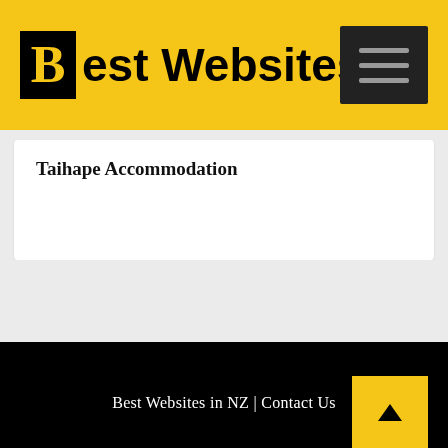Best Websites
Taihape Accommodation
Best Websites in NZ | Contact Us